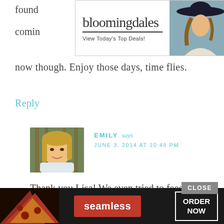[Figure (screenshot): Bloomingdale's advertisement banner at top: logo, 'View Today's Top Deals!', woman with hat image, 'SHOP NOW >' button]
now though. Enjoy those days, time flies.
Reply
[Figure (photo): Avatar/profile photo of Emily - young blonde woman smiling]
EMILY says
JUNE 3, 2014 AT 10:48 PM
Thank you Lisa! We even tried to feed him a little to see if he would dig in on his own, but no luck
[Figure (screenshot): Seamless food delivery advertisement banner at bottom with pizza image, Seamless logo button, and ORDER NOW button. CLOSE button above.]